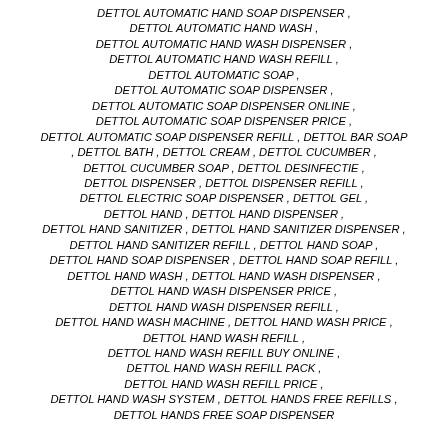DETTOL AUTOMATIC HAND SOAP DISPENSER , DETTOL AUTOMATIC HAND WASH , DETTOL AUTOMATIC HAND WASH DISPENSER , DETTOL AUTOMATIC HAND WASH REFILL , DETTOL AUTOMATIC SOAP , DETTOL AUTOMATIC SOAP DISPENSER , DETTOL AUTOMATIC SOAP DISPENSER ONLINE , DETTOL AUTOMATIC SOAP DISPENSER PRICE , DETTOL AUTOMATIC SOAP DISPENSER REFILL , DETTOL BAR SOAP , DETTOL BATH , DETTOL CREAM , DETTOL CUCUMBER , DETTOL CUCUMBER SOAP , DETTOL DESINFECTIE , DETTOL DISPENSER , DETTOL DISPENSER REFILL , DETTOL ELECTRIC SOAP DISPENSER , DETTOL GEL , DETTOL HAND , DETTOL HAND DISPENSER , DETTOL HAND SANITIZER , DETTOL HAND SANITIZER DISPENSER , DETTOL HAND SANITIZER REFILL , DETTOL HAND SOAP , DETTOL HAND SOAP DISPENSER , DETTOL HAND SOAP REFILL , DETTOL HAND WASH , DETTOL HAND WASH DISPENSER , DETTOL HAND WASH DISPENSER PRICE , DETTOL HAND WASH DISPENSER REFILL , DETTOL HAND WASH MACHINE , DETTOL HAND WASH PRICE , DETTOL HAND WASH REFILL , DETTOL HAND WASH REFILL BUY ONLINE , DETTOL HAND WASH REFILL PACK , DETTOL HAND WASH REFILL PRICE , DETTOL HAND WASH SYSTEM , DETTOL HANDS FREE REFILLS , DETTOL HANDS FREE SOAP DISPENSER